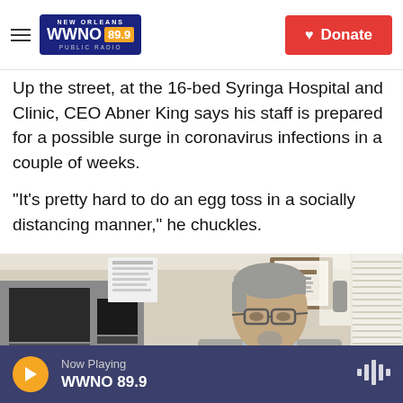WWNO 89.9 NEW ORLEANS PUBLIC RADIO — Donate
Up the street, at the 16-bed Syringa Hospital and Clinic, CEO Abner King says his staff is prepared for a possible surge in coronavirus infections in a couple of weeks.
"It's pretty hard to do an egg toss in a socially distancing manner," he chuckles.
[Figure (photo): Man with grey hair and glasses sitting in an office, with computer monitors, papers on wall, framed certificate, and window blinds visible in the background.]
Now Playing WWNO 89.9